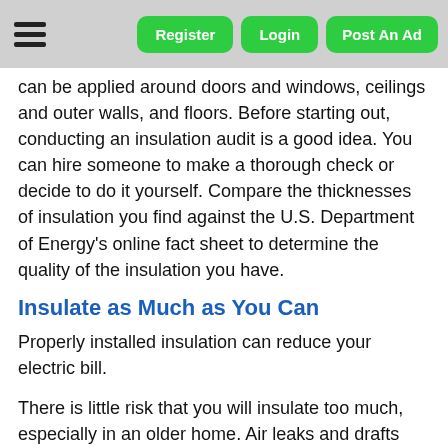Register | Login | Post An Ad
can be applied around doors and windows, ceilings and outer walls, and floors. Before starting out, conducting an insulation audit is a good idea. You can hire someone to make a thorough check or decide to do it yourself. Compare the thicknesses of insulation you find against the U.S. Department of Energy's online fact sheet to determine the quality of the insulation you have.
Insulate as Much as You Can
Properly installed insulation can reduce your electric bill.
There is little risk that you will insulate too much, especially in an older home. Air leaks and drafts should be eliminated with spray foam, caulk or weather stripping. If you are worried about air quality, you can hire a technician to check your combustible appliances for emissions. This means that